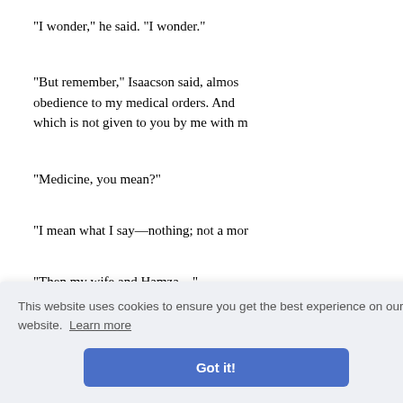"I wonder," he said. "I wonder."
"But remember," Isaacson said, almost obedience to my medical orders. And which is not given to you by me with m
"Medicine, you mean?"
"I mean what I say—nothing; not a mor
"Then my wife and Hamza—"
interrupte
ice.
member
And the Loulia floated down with the
This website uses cookies to ensure you get the best experience on our website. Learn more
Got it!